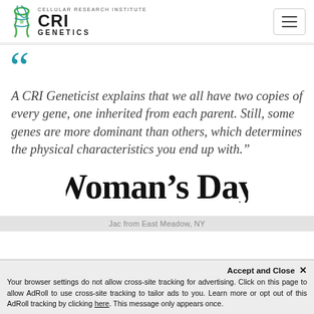CRI GENETICS — Cellular Research Institute
A CRI Geneticist explains that we all have two copies of every gene, one inherited from each parent. Still, some genes are more dominant than others, which determines the physical characteristics you end up with."
[Figure (logo): Woman's Day magazine logo in bold serif typeface]
Jac from East Meadow, NY
Accept and Close ✕
Your browser settings do not allow cross-site tracking for advertising. Click on this page to allow AdRoll to use cross-site tracking to tailor ads to you. Learn more or opt out of this AdRoll tracking by clicking here. This message only appears once.